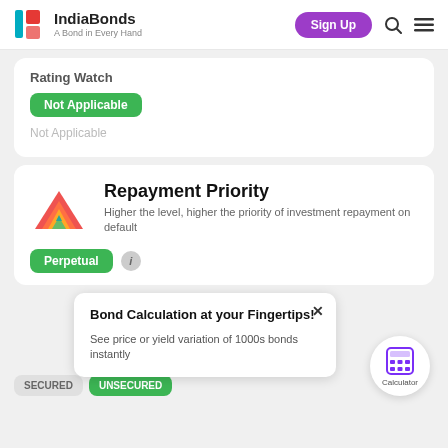IndiaBonds — A Bond in Every Hand
Rating Watch
Not Applicable
Not Applicable
Repayment Priority
Higher the level, higher the priority of investment repayment on default
Perpetual
Bond Calculation at your Fingertips!
See price or yield variation of 1000s bonds instantly
SECURED
UNSECURED